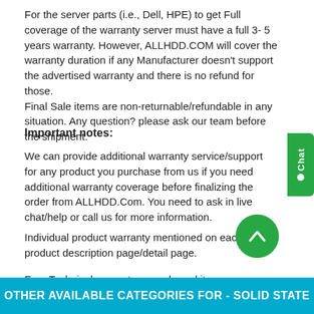For the server parts (i.e., Dell, HPE) to get Full coverage of the warranty server must have a full 3- 5 years warranty. However, ALLHDD.COM will cover the warranty duration if any Manufacturer doesn't support the advertised warranty and there is no refund for those.
Final Sale items are non-returnable/refundable in any situation. Any question? please ask our team before the shipment.
Important notes:
We can provide additional warranty service/support for any product you purchase from us if you need additional warranty coverage before finalizing the order from ALLHDD.Com. You need to ask in live chat/help or call us for more information.
Individual product warranty mentioned on each item product description page/detail page.
Free Technical support on purchased items, our expert consultancy over the phone, by email, by live chat, or by remote lo
OTHER AVAILABLE CATEGORIES FOR - SOLID STATE